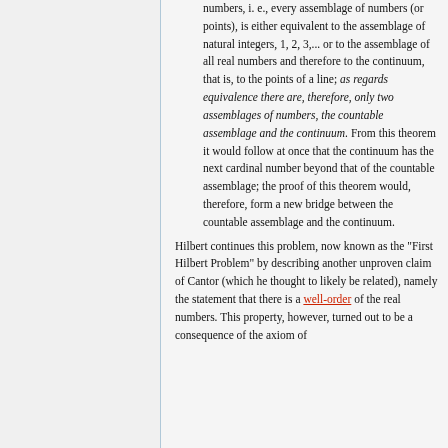numbers, i. e., every assemblage of numbers (or points), is either equivalent to the assemblage of natural integers, 1, 2, 3,... or to the assemblage of all real numbers and therefore to the continuum, that is, to the points of a line; as regards equivalence there are, therefore, only two assemblages of numbers, the countable assemblage and the continuum. From this theorem it would follow at once that the continuum has the next cardinal number beyond that of the countable assemblage; the proof of this theorem would, therefore, form a new bridge between the countable assemblage and the continuum.
Hilbert continues this problem, now known as the "First Hilbert Problem" by describing another unproven claim of Cantor (which he thought to likely be related), namely the statement that there is a well-order of the real numbers. This property, however, turned out to be a consequence of the axiom of